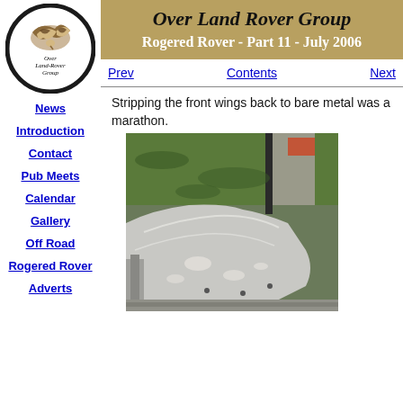[Figure (logo): Over Land-Rover Group circular logo with bird illustration]
News
Introduction
Contact
Pub Meets
Calendar
Gallery
Off Road
Rogered Rover
Adverts
Over Land Rover Group
Rogered Rover - Part 11 - July 2006
Prev
Contents
Next
Stripping the front wings back to bare metal was a marathon.
[Figure (photo): Photo of a stripped Land Rover wing/panel showing bare metal with paint chips, laid on grass with garden background]